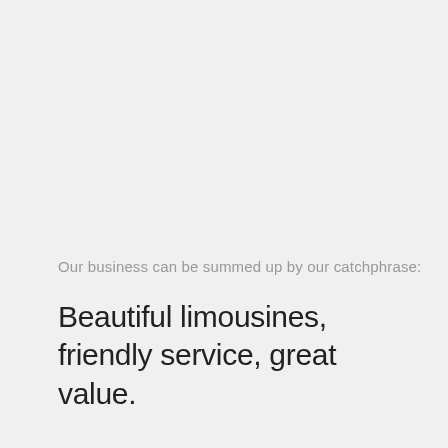Our business can be summed up by our catchphrase:
Beautiful limousines, friendly service, great value.